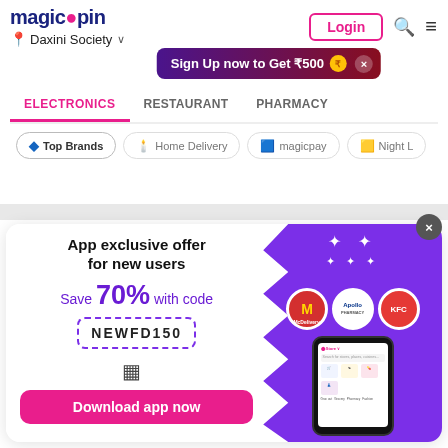[Figure (screenshot): Magicpin app website header with logo, location selector showing Daxini Society, Login button, search and menu icons]
Sign Up now to Get ₹500
ELECTRONICS
RESTAURANT
PHARMACY
Top Brands
Home Delivery
magicpay
Night L
App exclusive offer for new users
Save 70% with code
NEWFD150
Download app now